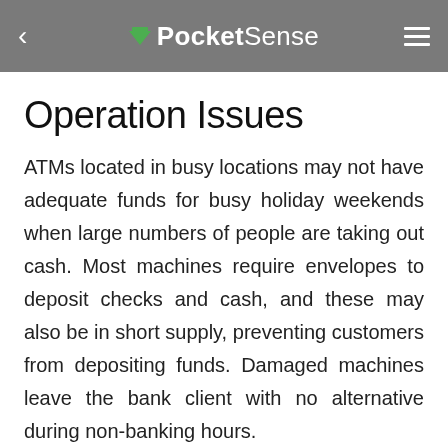PocketSense
Operation Issues
ATMs located in busy locations may not have adequate funds for busy holiday weekends when large numbers of people are taking out cash. Most machines require envelopes to deposit checks and cash, and these may also be in short supply, preventing customers from depositing funds. Damaged machines leave the bank client with no alternative during non-banking hours.